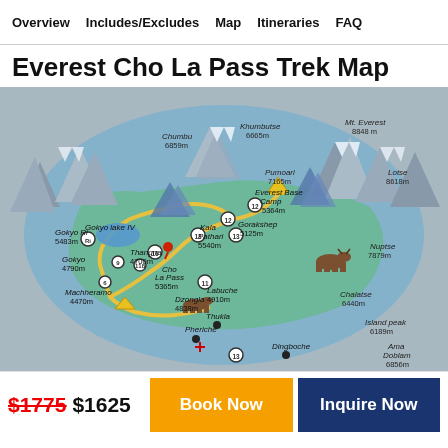Overview | Includes/Excludes | Map | Itineraries | FAQ
Everest Cho La Pass Trek Map
[Figure (map): Illustrated trekking map of Everest Cho La Pass Trek showing mountains, lakes, campsites, and trek route with labeled waypoints including Gokyo Ri 5483m, Gokyo lake IV, Gokyo 4790m, Machheramo 4470m, Thangna 4700m, Cho La Pass 5365m, Kala Pathari 5540m, Gorakshep 5125m, Everest Base Camp 5364m, Labuche 4910m, Dzongla 4838m, Pheriche, Dingboche, and peaks: Chumbu 6859m, Khumbutse 6665m, Mt. Everest 8848m, Pumoari 7165m, Lotse 8618m, Nuptse 7879m, Chalatse 6440m, Island peak 6189m, Ama Doblam 6856m]
$1775 $1625
Book Now
Inquire Now